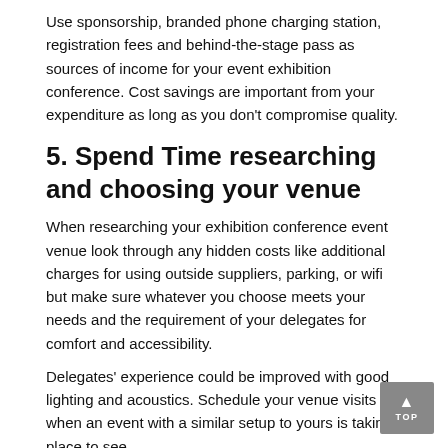Use sponsorship, branded phone charging station, registration fees and behind-the-stage pass as sources of income for your event exhibition conference. Cost savings are important from your expenditure as long as you don't compromise quality.
5. Spend Time researching and choosing your venue
When researching your exhibition conference event venue look through any hidden costs like additional charges for using outside suppliers, parking, or wifi but make sure whatever you choose meets your needs and the requirement of your delegates for comfort and accessibility.
Delegates' experience could be improved with good lighting and acoustics. Schedule your venue visits when an event with a similar setup to yours is taking place to see